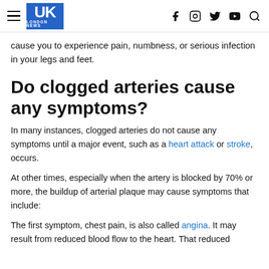UK LONDON NEWS
cause you to experience pain, numbness, or serious infection in your legs and feet.
Do clogged arteries cause any symptoms?
In many instances, clogged arteries do not cause any symptoms until a major event, such as a heart attack or stroke, occurs.
At other times, especially when the artery is blocked by 70% or more, the buildup of arterial plaque may cause symptoms that include:
The first symptom, chest pain, is also called angina. It may result from reduced blood flow to the heart. That reduced